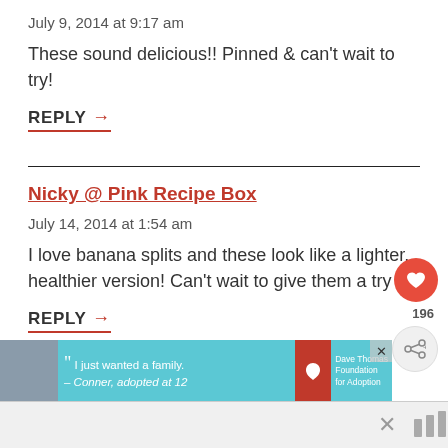July 9, 2014 at 9:17 am
These sound delicious!! Pinned & can't wait to try!
REPLY →
Nicky @ Pink Recipe Box
July 14, 2014 at 1:54 am
I love banana splits and these look like a lighter, healthier version! Can't wait to give them a try
REPLY →
[Figure (screenshot): Advertisement banner: Dave Thomas Foundation for Adoption. Shows a young man with quote 'I just wanted a family. – Conner, adopted at 12']